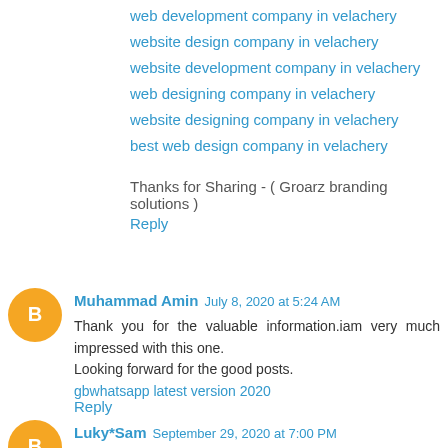web development company in velachery
website design company in velachery
website development company in velachery
web designing company in velachery
website designing company in velachery
best web design company in velachery
Thanks for Sharing - ( Groarz branding solutions )
Reply
Muhammad Amin  July 8, 2020 at 5:24 AM
Thank you for the valuable information.iam very much impressed with this one.
Looking forward for the good posts.
gbwhatsapp latest version 2020
Reply
Luky*Sam  September 29, 2020 at 7:00 PM
It's no wonder that in recent whatsapp plus became a huge...